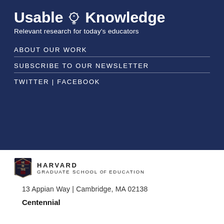Usable Knowledge
Relevant research for today's educators
ABOUT OUR WORK
SUBSCRIBE TO OUR NEWSLETTER
TWITTER | FACEBOOK
[Figure (logo): Harvard Graduate School of Education shield logo]
13 Appian Way | Cambridge, MA 02138
Centennial